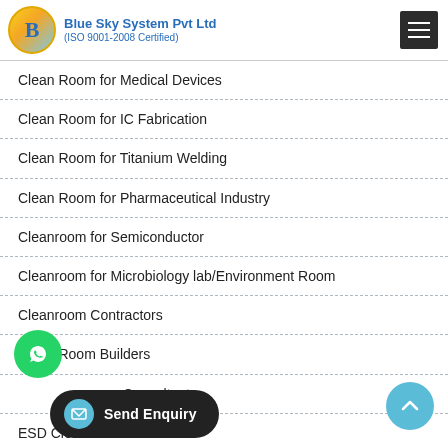Blue Sky System Pvt Ltd (ISO 9001-2008 Certified)
Clean Room for Medical Devices
Clean Room for IC Fabrication
Clean Room for Titanium Welding
Clean Room for Pharmaceutical Industry
Cleanroom for Semiconductor
Cleanroom for Microbiology lab/Environment Room
Cleanroom Contractors
Clean Room Builders
Clean Room Consultants
ESD Clean Room
Industrial Clean Room